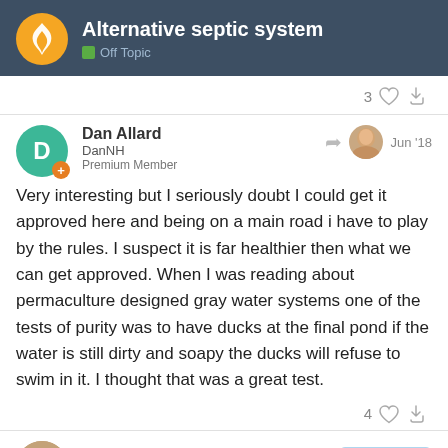Alternative septic system — Off Topic
3 [like] [link]
Dan Allard
DanNH
Premium Member
Jun '18
Very interesting but I seriously doubt I could get it approved here and being on a main road i have to play by the rules. I suspect it is far healthier then what we can get approved. When I was reading about permaculture designed gray water systems one of the tests of purity was to have ducks at the final pond if the water is still dirty and soapy the ducks will refuse to swim in it. I thought that was a great test.
4 [like] [link]
Abner Valbuena
2 / 18